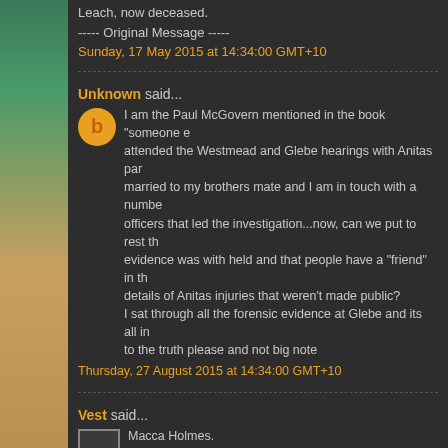Leach, now deceased.
----- Original Message -----
Sunday, 17 May 2015 at 14:34:00 GMT+10
Unknown said...
I am the Paul McGovern mentioned in the book "someone e... attended the Westmead and Glebe hearings with Anitas par... married to my brothers mate and I am in touch with a numbe... officers that led the investigation...now, can we put to rest th... evidence was with held and that people have a "friend" in th... details of Anitas injuries that weren't made public? I sat through all the forensic evidence at Glebe and its all in... to the truth please and not big note
Thursday, 27 August 2015 at 14:34:00 GMT+10
Vest said...
Macca Holmes. You are about eight years late getting to reply on my blog. BTW, I write that which I percieve to be the truth, I too knew... I being their neighbour. Personally I do not care a stuff what...